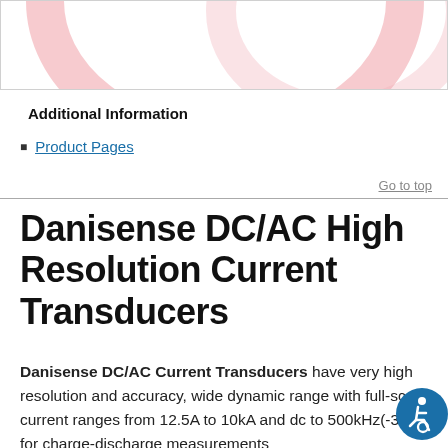[Figure (illustration): Partial view of a circular pink/rose-colored graphic element at the top of the page, cropped, with a light border around the image area.]
Additional Information
Product Pages
Go to top
Danisense DC/AC High Resolution Current Transducers
Danisense DC/AC Current Transducers have very high resolution and accuracy, wide dynamic range with full-scale current ranges from 12.5A to 10kA and dc to 500kHz(-3dB) for charge-discharge measurements